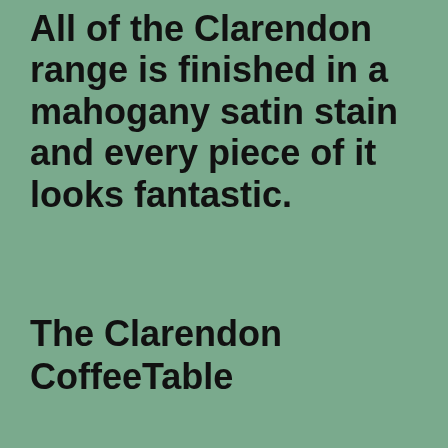All of the Clarendon range is finished in a mahogany satin stain and every piece of it looks fantastic.
The Clarendon CoffeeTable